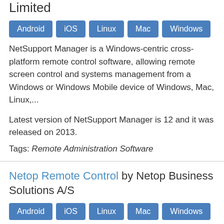Limited
Android
iOS
Linux
Mac
Windows
NetSupport Manager is a Windows-centric cross-platform remote control software, allowing remote screen control and systems management from a Windows or Windows Mobile device of Windows, Mac, Linux,...
Latest version of NetSupport Manager is 12 and it was released on 2013.
Tags: Remote Administration Software
Netop Remote Control by Netop Business Solutions A/S
Android
iOS
Linux
Mac
Windows
Netop Remote Control is a family of